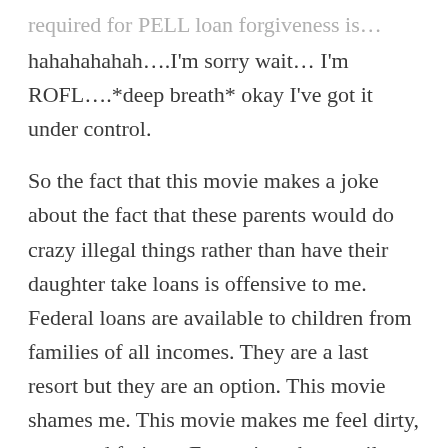required for PELL loan forgiveness is…
hahahahahah….I'm sorry wait… I'm ROFL….*deep breath* okay I've got it under control.
So the fact that this movie makes a joke about the fact that these parents would do crazy illegal things rather than have their daughter take loans is offensive to me. Federal loans are available to children from families of all incomes. They are a last resort but they are an option. This movie shames me. This movie makes me feel dirty, poor, and furious. Every time these trailers come on I get angry. And I'm not just angry, I'm disappointed.
the ultimately...